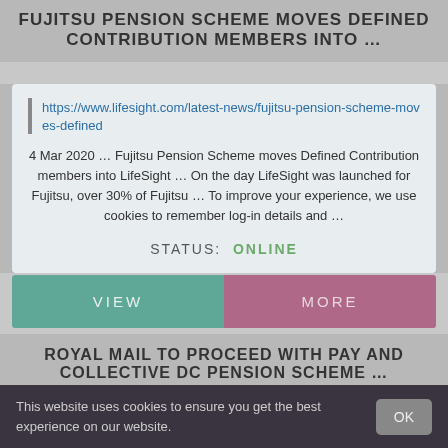FUJITSU PENSION SCHEME MOVES DEFINED CONTRIBUTION MEMBERS INTO ...
https://www.lifesight.com/latest-news/fujitsu-pension-scheme-moves-defined
4 Mar 2020 … Fujitsu Pension Scheme moves Defined Contribution members into LifeSight … On the day LifeSight was launched for Fujitsu, over 30% of Fujitsu … To improve your experience, we use cookies to remember log-in details and …
STATUS: ONLINE
VIEW
MORE
ROYAL MAIL TO PROCEED WITH PAY AND COLLECTIVE DC PENSION SCHEME ...
https://employeebenefits.co.uk/issues/april-2018/royal-mail-pay-pension-deal,
This website uses cookies to ensure you get the best experience on our website.